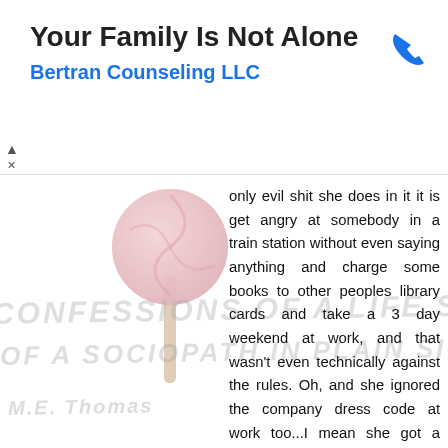[Figure (other): Advertisement banner for Bertran Counseling LLC with title 'Your Family Is Not Alone', a blue phone icon, and navigation controls]
only evil shit she does in it it is get angry at somebody in a train station without even saying anything and charge some books to other peoples library cards and take a 3 day weekend at work, and that wasn't even technically against the rules. Oh, and she ignored the company dress code at work too...I mean she got a teacher in trouble at school once, but thats the sort of stuff everybody does at school. It doesn't make you some remorseless predator, just an arsehole. Honestly, it was a well written book, as a psychological study of somebody with narcissistic personality disorder it works. At times, the prose almost sounds like somebody describing a romantic infatuation with herself, it gets a bit cringy but its still pretty interesting. There's quite a bit of unconscious pathos here, which is interesting: I probably would read the